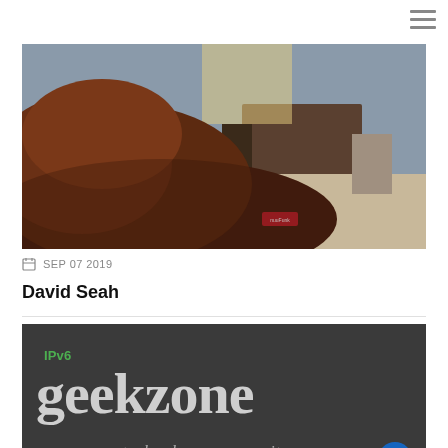[Figure (photo): A large brown bean bag chair photographed from a low angle in what appears to be an office or lounge setting. The background shows furniture and a bright window. A small red label is visible on the bag.]
SEP 07 2019
David Seah
[Figure (logo): IPv6 Geekzone technology community logo. Dark grey background with 'IPv6' in green text, 'geekzone' in large white/grey serif font, and 'technology community' in smaller italic grey text below.]